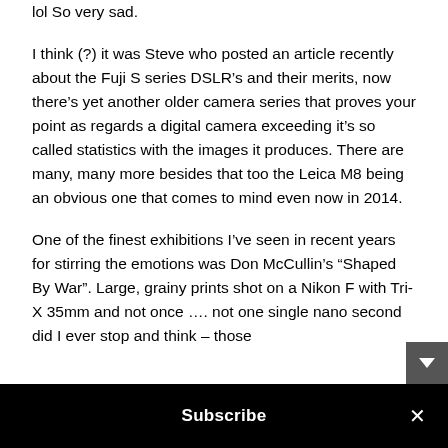lol So very sad.
I think (?) it was Steve who posted an article recently about the Fuji S series DSLR’s and their merits, now there’s yet another older camera series that proves your point as regards a digital camera exceeding it’s so called statistics with the images it produces. There are many, many more besides that too the Leica M8 being an obvious one that comes to mind even now in 2014.
One of the finest exhibitions I’ve seen in recent years for stirring the emotions was Don McCullin’s “Shaped By War”. Large, grainy prints shot on a Nikon F with Tri-X 35mm and not once …. not one single nano second did I ever stop and think – those
Subscribe